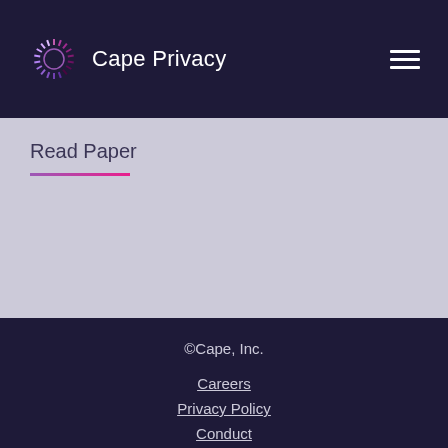Cape Privacy
Read Paper
©Cape, Inc.
Careers
Privacy Policy
Conduct